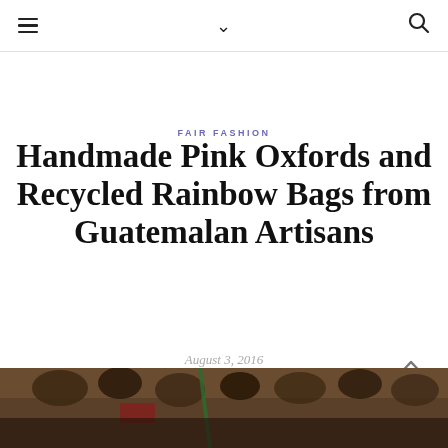≡  ∨  🔍
FAIR FASHION
Handmade Pink Oxfords and Recycled Rainbow Bags from Guatemalan Artisans
August 3, 2016
[Figure (photo): Bottom strip showing a dark photograph of artisan bags hanging in a market or workshop setting, with colorful items visible]